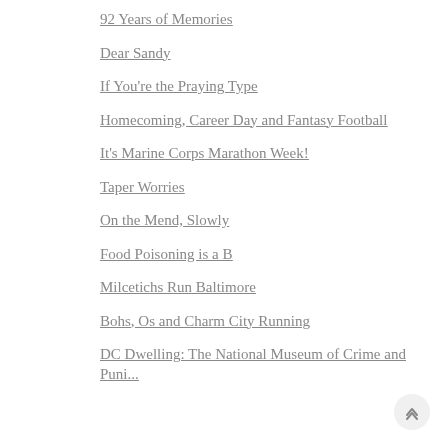92 Years of Memories
Dear Sandy
If You're the Praying Type
Homecoming, Career Day and Fantasy Football
It's Marine Corps Marathon Week!
Taper Worries
On the Mend, Slowly
Food Poisoning is a B
Milcetichs Run Baltimore
Bohs, Os and Charm City Running
DC Dwelling: The National Museum of Crime and Puni...